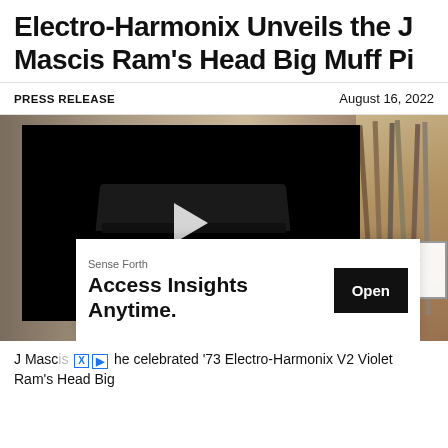Electro-Harmonix Unveils the J Mascis Ram's Head Big Muff Pi
PRESS RELEASE    August 16, 2022
[Figure (photo): Photo background showing guitars on stands in a room, with a video player overlay showing a dark video frame of a guitar pedal with a play button. An advertisement overlay reads 'Sense Forth — Access Insights Anytime.' with an Open button. A close/collapse button with caret and X is visible at bottom right of the photo area.]
J Masc... he celebrated '73 Electro-Harmonix V2 Violet Ram's Head Big